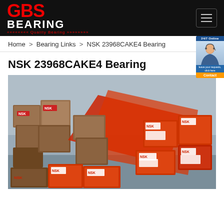GBS BEARING - Quality Bearing
Home > Bearing Links > NSK 23968CAKE4 Bearing
NSK 23968CAKE4 Bearing
[Figure (photo): Warehouse shelves stacked with NSK bearing boxes in red and brown packaging]